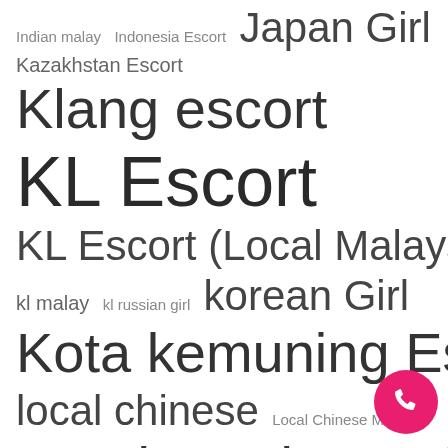Indian malay  Indonesia Escort  Japan Girl
Kazakhstan Escort  Klang escort
KL Escort
KL Escort (Local Malaysia)
kl malay  kl russian girl  korean Girl
Kota kemuning Escort
local chinese  Local Chinese Miri
Local Freelance Girl Escort
Local Malay  Malay freelance
model escort
Outcall Escort  outcall malay
outcall service